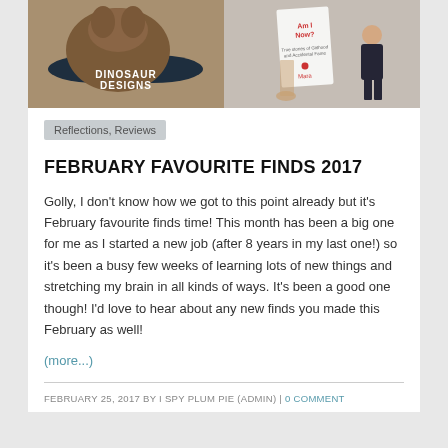[Figure (photo): Two photos side by side: left shows a dark teal oval base with a brown fur/leather object on top and text 'DINOSAUR DESIGNS'; right shows a hand holding a book with red text 'Am I Now?' by Mara, and a girl in a dark dress standing beside it]
Reflections, Reviews
FEBRUARY FAVOURITE FINDS 2017
Golly, I don't know how we got to this point already but it's February favourite finds time! This month has been a big one for me as I started a new job (after 8 years in my last one!) so it's been a busy few weeks of learning lots of new things and stretching my brain in all kinds of ways. It's been a good one though! I'd love to hear about any new finds you made this February as well!
(more...)
FEBRUARY 25, 2017 BY I SPY PLUM PIE (ADMIN) | 0 COMMENT